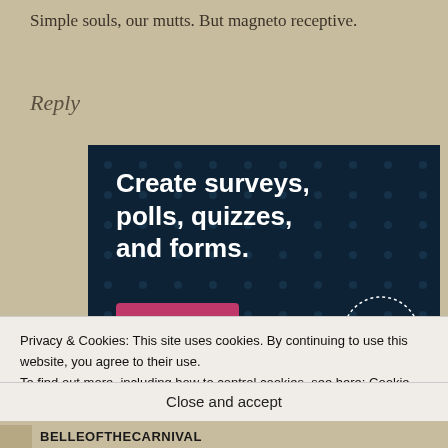Simple souls, our mutts. But magneto receptive.
Reply
[Figure (screenshot): Advertisement banner with dark navy background and dot pattern. Text reads: 'Create surveys, polls, quizzes, and forms.' with a pink 'Start now' button and a Crowd Signal logo in the bottom right.]
Privacy & Cookies: This site uses cookies. By continuing to use this website, you agree to their use.
To find out more, including how to control cookies, see here: Cookie Policy
Close and accept
BELLEOFTHECARNIVAL